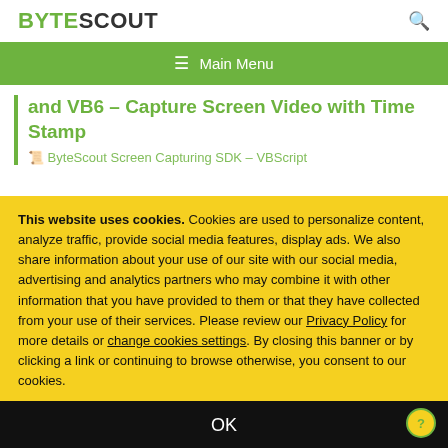BYTESCOUT
Main Menu
and VB6 – Capture Screen Video with Time Stamp
ByteScout Screen Capturing SDK – VBScript
This website uses cookies. Cookies are used to personalize content, analyze traffic, provide social media features, display ads. We also share information about your use of our site with our social media, advertising and analytics partners who may combine it with other information that you have provided to them or that they have collected from your use of their services. Please review our Privacy Policy for more details or change cookies settings. By closing this banner or by clicking a link or continuing to browse otherwise, you consent to our cookies.
OK